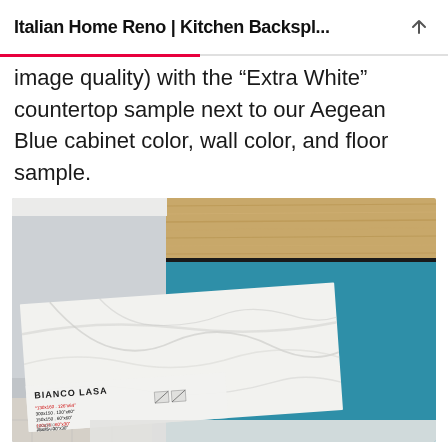Italian Home Reno | Kitchen Backspl...
image quality) with the “Extra White” countertop sample next to our Aegean Blue cabinet color, wall color, and floor sample.
[Figure (photo): Photo showing a white marble-look tile sample labeled 'BIANCO LASA' with diagonal veining, placed on a teal/Aegean Blue cabinet panel, with a wood grain strip at the top and light gray wall section on the left.]